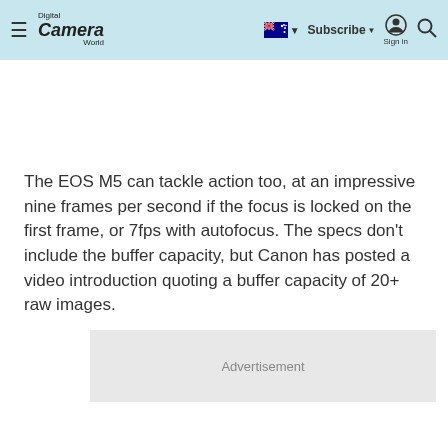Digital Camera World — Subscribe | Sign in
The EOS M5 can tackle action too, at an impressive nine frames per second if the focus is locked on the first frame, or 7fps with autofocus. The specs don't include the buffer capacity, but Canon has posted a video introduction quoting a buffer capacity of 20+ raw images.
Advertisement